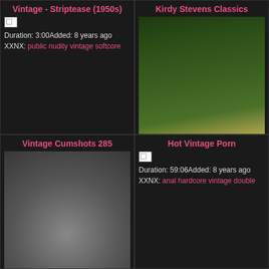Vintage - Striptease (1950s)
Duration: 3:00Added: 8 years ago
XXNX: public nudity vintage softcore
Kirdy Stevens Classics
[Figure (photo): Woman in yellow shirt outdoors]
Duration: 1:24:42Added: 3 years ago
XXNX:
Vintage Cumshots 285
[Figure (photo): Video thumbnail]
Duration: 13:29Added: 3 years ago
XXNX:
Hot Vintage Porn
Duration: 59:06Added: 8 years ago
XXNX: anal hardcore vintage double